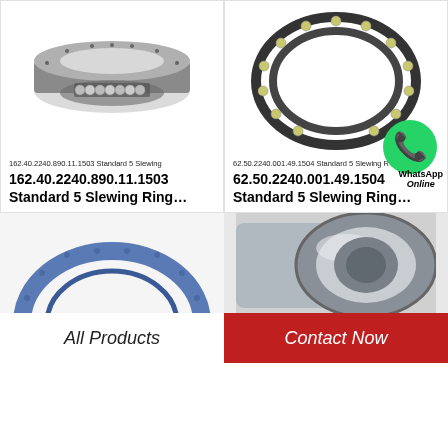[Figure (photo): Gray slewing ring bearing with ball elements visible at bottom cutaway]
162.40.2240.890.11.1503 Standard 5 Slewing
162.40.2240.890.11.1503 Standard 5 Slewing Ring…
[Figure (photo): Thin-section ball bearing ring with yellowish balls and dark steel race]
62.50.2240.001.49.1504 Standard 5 Slewing R
62.50.2240.001.49.1504 Standard 5 Slewing Ring…
[Figure (photo): Blue slewing ring partially visible at bottom left]
[Figure (photo): Steel angular contact bearing close-up at bottom right]
All Products
Contact Now